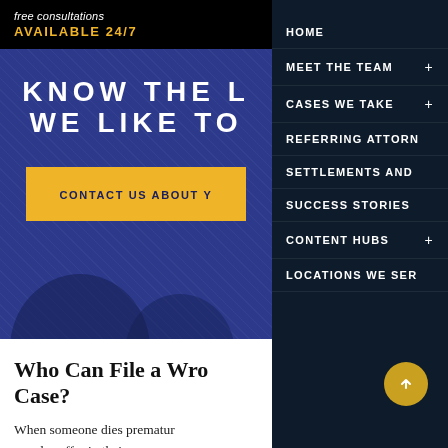free consultations
AVAILABLE 24/7
KNOW THE L... WE LIKE TO...
CONTACT US ABOUT Y...
Who Can File a Wro... Case?
When someone dies prematur... people suffer in their own way... no longer contribute to their o...
HOME
MEET THE TEAM +
CASES WE TAKE +
REFERRING ATTORN...
SETTLEMENTS AND...
SUCCESS STORIES
CONTENT HUBS +
LOCATIONS WE SER...